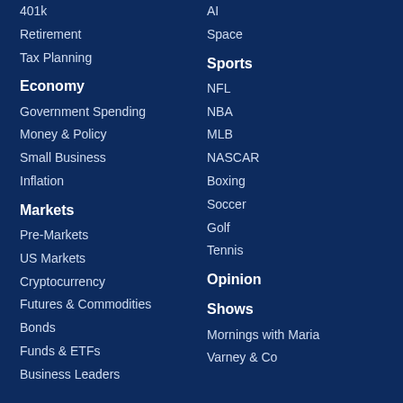401k
Retirement
Tax Planning
Economy
Government Spending
Money & Policy
Small Business
Inflation
Markets
Pre-Markets
US Markets
Cryptocurrency
Futures & Commodities
Bonds
Funds & ETFs
Business Leaders
AI
Space
Sports
NFL
NBA
MLB
NASCAR
Boxing
Soccer
Golf
Tennis
Opinion
Shows
Mornings with Maria
Varney & Co